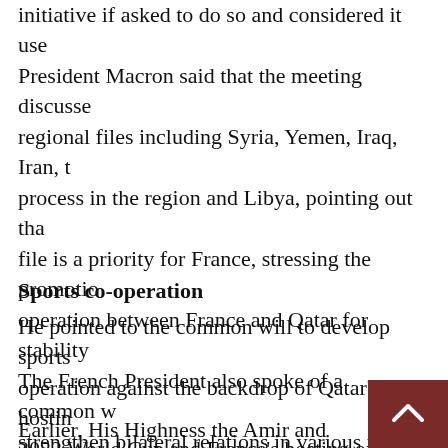initiative if asked to do so and considered it use President Macron said that the meeting discusse regional files including Syria, Yemen, Iraq, Iran, t process in the region and Libya, pointing out tha file is a priority for France, stressing the promoti operation between France and Qatar for stability The French President also spoke of a common w strengthen bilateral relations in various fields, es economy, culture, higher education, sports and c
Sports co-operation
He pointed to the common will to develop sports operation against the backdrop of Qatar's hostin 2022 World Cup and France's hosting of the Oly in 2024, praising the sports co-operation betwee countries in this field.
Earlier, His Highness the Amir and the Fren